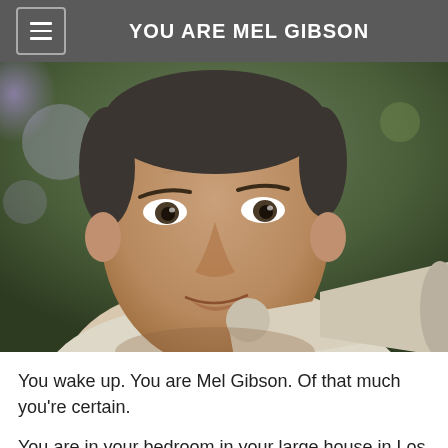YOU ARE MEL GIBSON
[Figure (photo): A middle-aged man with dark hair speaking into a megaphone/bullhorn, wearing a light-colored shirt, with a blurred green background.]
You wake up. You are Mel Gibson. Of that much you're certain.
You are in your bedroom in your large house in Los